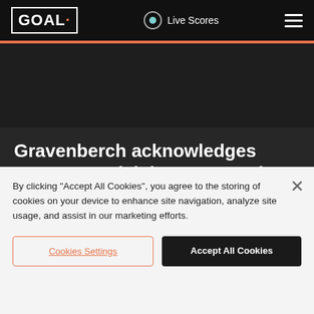GOAL · Live Scores
[Figure (photo): Dark background image area below header]
Gravenberch acknowledges Bayern Munich interest as Ajax contract negotiations break down
By clicking “Accept All Cookies”, you agree to the storing of cookies on your device to enhance site navigation, analyze site usage, and assist in our marketing efforts.
Cookies Settings | Accept All Cookies